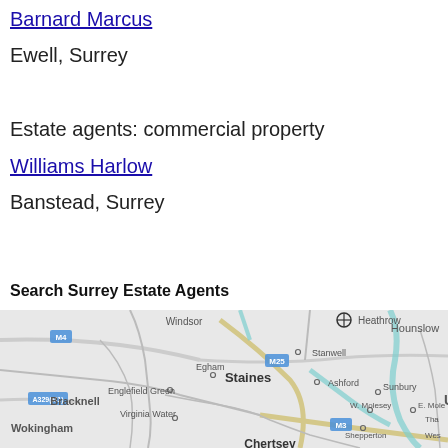Barnard Marcus
Ewell, Surrey
Estate agents: commercial property
Williams Harlow
Banstead, Surrey
Search Surrey Estate Agents
[Figure (map): A map of the Surrey and surrounding area showing places including Windsor, Heathrow, Hounslow, Stanwell, Staines, Ashford, Egham, Englefield Green, Virginia Water, Bracknell, Wokingham, Sunbury, W. Molesey, E. Molesey, Shepperton, Chertsey, M4, M25, M3, A329(M1) motorways and roads.]